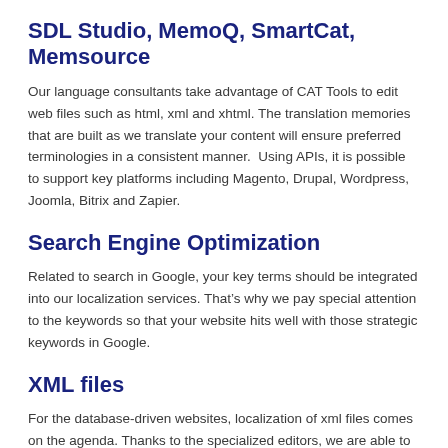SDL Studio, MemoQ, SmartCat, Memsource
Our language consultants take advantage of CAT Tools to edit web files such as html, xml and xhtml. The translation memories that are built as we translate your content will ensure preferred terminologies in a consistent manner. Using APIs, it is possible to support key platforms including Magento, Drupal, Wordpress, Joomla, Bitrix and Zapier.
Search Engine Optimization
Related to search in Google, your key terms should be integrated into our localization services. That’s why we pay special attention to the keywords so that your website hits well with those strategic keywords in Google.
XML files
For the database-driven websites, localization of xml files comes on the agenda. Thanks to the specialized editors, we are able to translate database content without damaging the xml codes. A